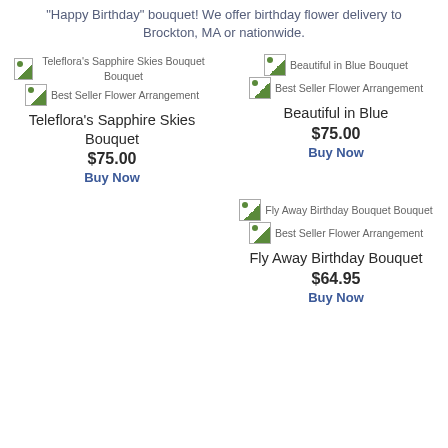"Happy Birthday" bouquet! We offer birthday flower delivery to Brockton, MA or nationwide.
[Figure (other): Teleflora's Sapphire Skies Bouquet product image and Best Seller Flower Arrangement badge]
Teleflora's Sapphire Skies Bouquet
$75.00
Buy Now
[Figure (other): Beautiful in Blue Bouquet product image and Best Seller Flower Arrangement badge]
Beautiful in Blue
$75.00
Buy Now
[Figure (other): Fly Away Birthday Bouquet product image and Best Seller Flower Arrangement badge]
Fly Away Birthday Bouquet
$64.95
Buy Now